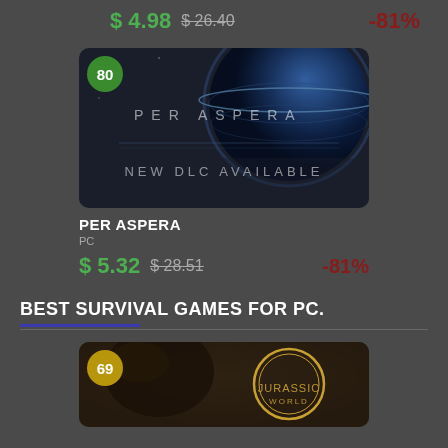$ 4.98  $ 26.40  -81%
[Figure (screenshot): Per Aspera game promotional image showing a planet in space with text 'PER ASPERA' and 'NEW DLC AVAILABLE', with a green score badge showing 80]
PER ASPERA
PC
$ 5.32  $ 28.51  -81%
BEST SURVIVAL GAMES FOR PC.
[Figure (screenshot): Jurassic World game promotional image with a dinosaur and Jurassic World logo, with a yellow score badge showing 69]